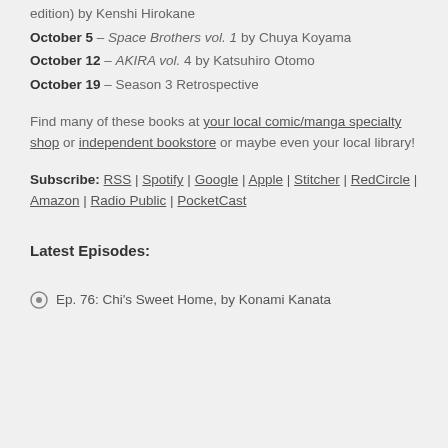edition) by Kenshi Hirokane
October 5 – Space Brothers vol. 1 by Chuya Koyama
October 12 – AKIRA vol. 4 by Katsuhiro Otomo
October 19 – Season 3 Retrospective
Find many of these books at your local comic/manga specialty shop or independent bookstore or maybe even your local library!
Subscribe: RSS | Spotify | Google | Apple | Stitcher | RedCircle | Amazon | Radio Public | PocketCast
Latest Episodes:
Ep. 76: Chi's Sweet Home, by Konami Kanata